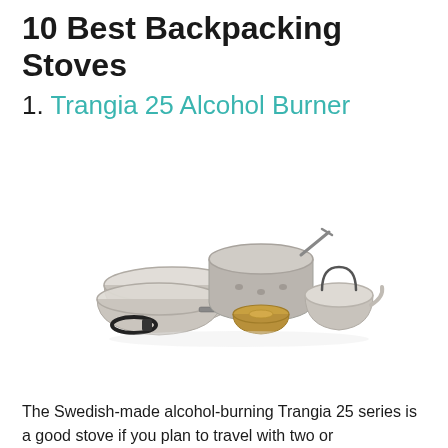10 Best Backpacking Stoves
1. Trangia 25 Alcohol Burner
[Figure (photo): Photo of the Trangia 25 Alcohol Burner camping stove set, showing aluminum pots, windscreen/burner unit, brass alcohol burner, and a small kettle arranged on a white background.]
The Swedish-made alcohol-burning Trangia 25 series is a good stove if you plan to travel with two or